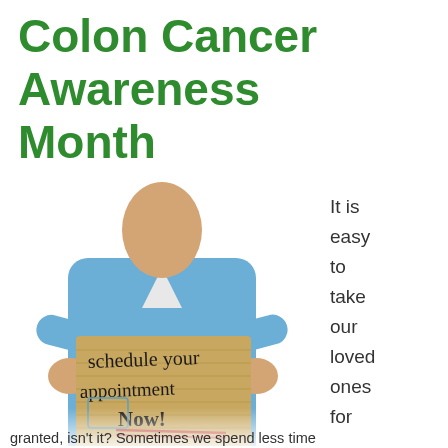Colon Cancer Awareness Month
[Figure (photo): Healthcare worker in blue scrubs holding a cardboard sign that reads 'schedule your appointment Now!' with a handwritten font]
It is easy to take our loved ones for
granted, isn't it? Sometimes we spend less time